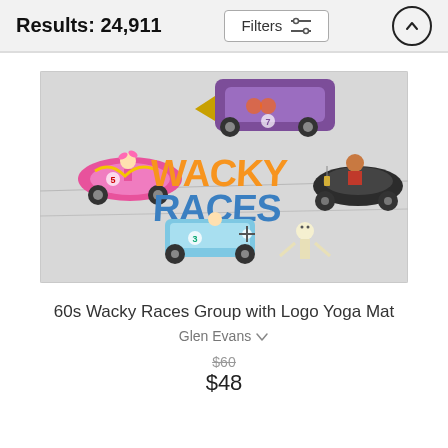Results: 24,911
[Figure (screenshot): Wacky Races cartoon group image with logo showing various cartoon race cars and characters on a light background]
60s Wacky Races Group with Logo Yoga Mat
Glen Evans
$60 $48